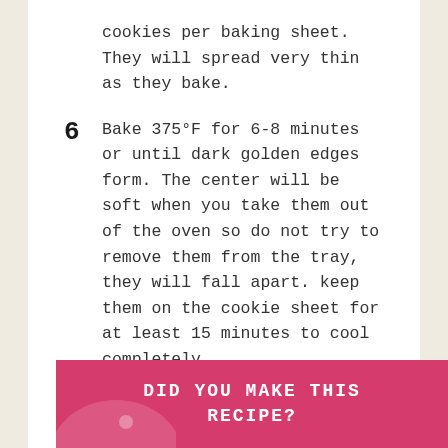cookies per baking sheet. They will spread very thin as they bake.
6  Bake 375°F for 6-8 minutes or until dark golden edges form. The center will be soft when you take them out of the oven so do not try to remove them from the tray, they will fall apart. keep them on the cookie sheet for at least 15 minutes to cool completely.
7  Your patience will be rewarded! These buttery crisp cookies will set in a beautiful “lace” pattern.
DID YOU MAKE THIS RECIPE?